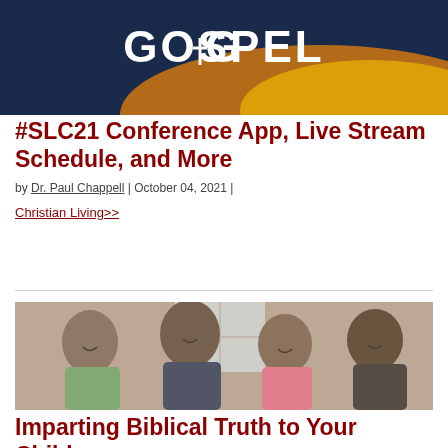[Figure (photo): Dark navy blue banner image with 'GOSPEL' text and a cross icon, with a golden/orange gradient at the bottom]
#SLC21 Conference App, Live Stream Schedule, and More
by Dr. Paul Chappell | October 04, 2021 |
Christian Living>>
[Figure (photo): A family of four (parents and two children) gathered together indoors, smiling and interacting, with a window in the background]
Imparting Biblical Truth to Your Children